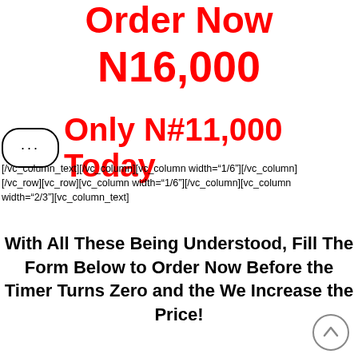Order Now
N16,000
Only N#11,000 Today
[/vc_column_text][/vc_column][vc_column width="1/6"][/vc_column][/vc_row][vc_row][vc_column width="1/6"][/vc_column][vc_column width="2/3"][vc_column_text]
With All These Being Understood, Fill The Form Below to Order Now Before the Timer Turns Zero and the We Increase the Price!